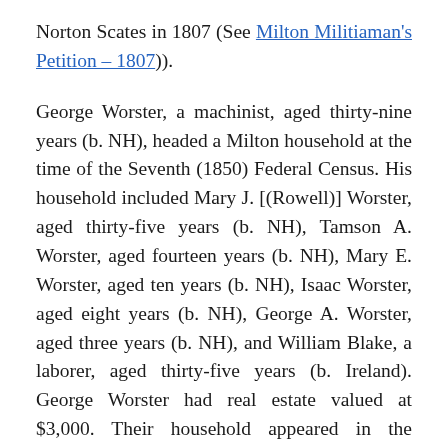Norton Scates in 1807 (See Milton Militiaman's Petition – 1807)).

George Worster, a machinist, aged thirty-nine years (b. NH), headed a Milton household at the time of the Seventh (1850) Federal Census. His household included Mary J. [(Rowell)] Worster, aged thirty-five years (b. NH), Tamson A. Worster, aged fourteen years (b. NH), Mary E. Worster, aged ten years (b. NH), Isaac Worster, aged eight years (b. NH), George A. Worster, aged three years (b. NH), and William Blake, a laborer, aged thirty-five years (b. Ireland). George Worster had real estate valued at $3,000. Their household appeared in the enumeration between those of Joseph